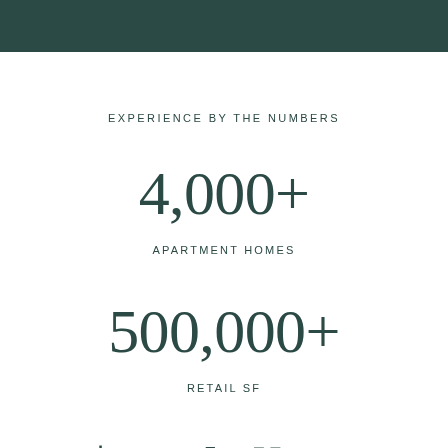EXPERIENCE BY THE NUMBERS
4,000+
APARTMENT HOMES
500,000+
RETAIL SF
$1.5 billion